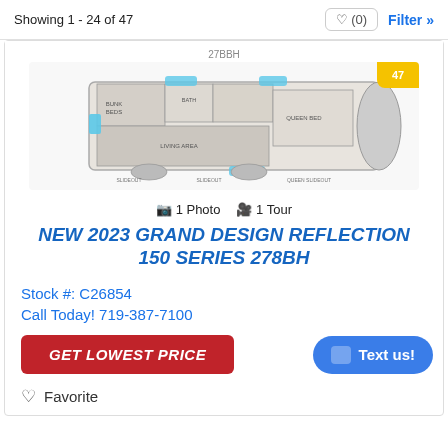Showing 1 - 24 of 47
[Figure (illustration): RV floor plan schematic for 278BH model showing top-down layout with bunk beds, kitchen, bathroom, bedroom, and living area]
1 Photo  1 Tour
NEW 2023 GRAND DESIGN REFLECTION 150 SERIES 278BH
Stock #: C26854
Call Today! 719-387-7100
GET LOWEST PRICE
Text us!
Favorite